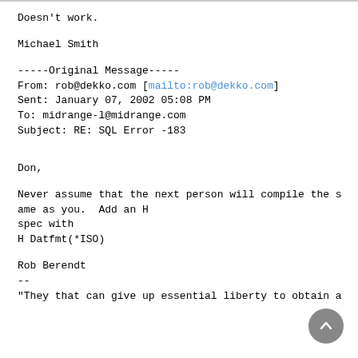Doesn't work.
Michael Smith
-----Original Message-----
From: rob@dekko.com [mailto:rob@dekko.com]
Sent: January 07, 2002 05:08 PM
To: midrange-l@midrange.com
Subject: RE: SQL Error -183
Don,
Never assume that the next person will compile the same as you.  Add an H spec with
H Datfmt(*ISO)
Rob Berendt
--
"They that can give up essential liberty to obtain a